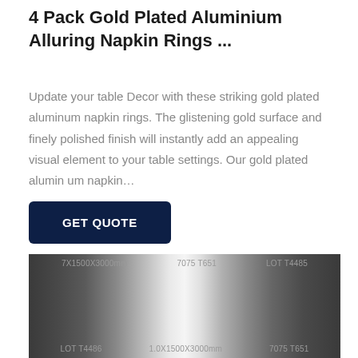4 Pack Gold Plated Aluminium Alluring Napkin Rings ...
Update your table Decor with these striking gold plated aluminum napkin rings. The glistening gold surface and finely polished finish will instantly add an appealing visual element to your table settings. Our gold plated alumin um napkin…
GET QUOTE
[Figure (photo): A metallic aluminum sheet with a brushed/polished surface showing a gradient from dark edges to bright center. Text markings on the sheet read: top row: 7X1500X3000mm, 7075 T651, LOT T4485; bottom row: LOT T4486, 1.0X1500X3000mm, 7075 T651]